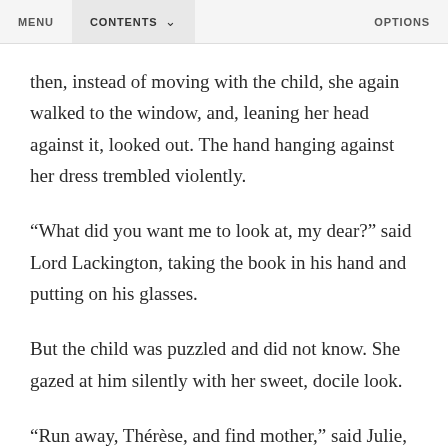MENU   CONTENTS   OPTIONS
then, instead of moving with the child, she again walked to the window, and, leaning her head against it, looked out. The hand hanging against her dress trembled violently.
“What did you want me to look at, my dear?” said Lord Lackington, taking the book in his hand and putting on his glasses.
But the child was puzzled and did not know. She gazed at him silently with her sweet, docile look.
“Run away, Thérèse, and find mother,” said Julie, from the window.